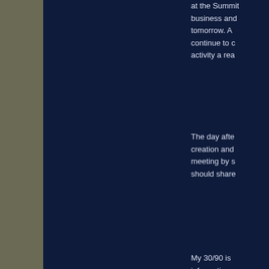at the Summit business and tomorrow. A continue to activity a rea
The day afte creation and meeting by s should share
My 30/90 is information continue to and commit auditioning principal or Summit. Ki be heard an so rightly d Please take going on Tw change to m
YOU are ad performance the legs to s